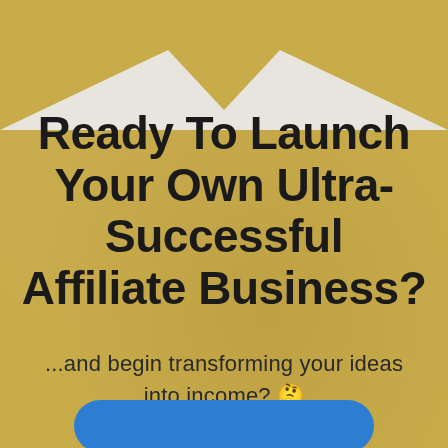Ready To Launch Your Own Ultra-Successful Affiliate Business?
...and begin transforming your ideas into income? 🤔